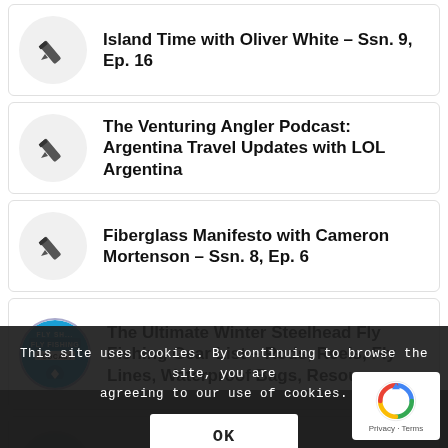Island Time with Oliver White – Ssn. 9, Ep. 16
The Venturing Angler Podcast: Argentina Travel Updates with LOL Argentina
Fiberglass Manifesto with Cameron Mortenson – Ssn. 8, Ep. 6
The Ultimate Winter Steelhead Fly Fishing Gear List – Rods, Reels, Fly Lines, Waterproof Bags, Resources
WFS 133 – Choose A Fly Rod with ... – Gorge Fly Shop, Hood River
This site uses cookies. By continuing to browse the site, you are agreeing to our use of cookies.
OK